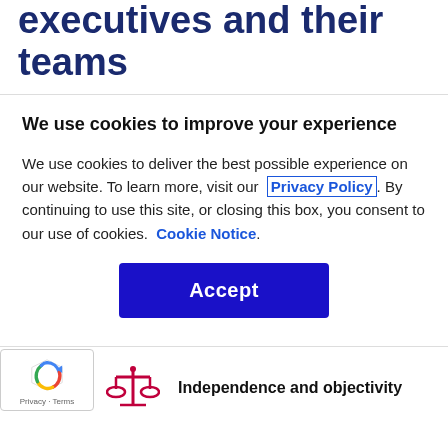executives and their teams
We use cookies to improve your experience
We use cookies to deliver the best possible experience on our website. To learn more, visit our Privacy Policy. By continuing to use this site, or closing this box, you consent to our use of cookies. Cookie Notice.
Accept
Independence and objectivity